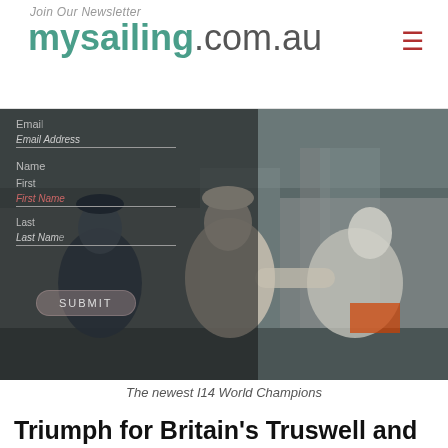Join Our Newsletter | mysailing.com.au
[Figure (photo): Three sailing competitors celebrating, laughing and embracing each other at a sailing venue. A newsletter signup form overlay is visible on the left side of the image over the photo.]
The newest I14 World Champions
Triumph for Britain's Truswell and Reeves at i14 Worlds